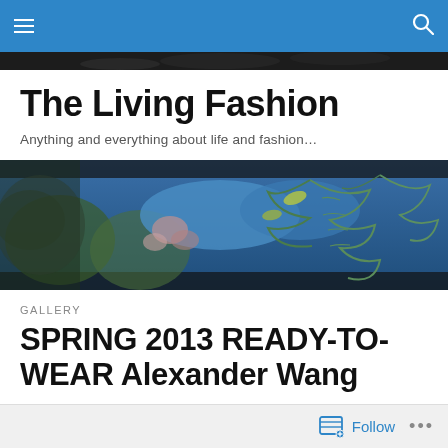Navigation bar with menu and search icons
The Living Fashion
Anything and everything about life and fashion…
[Figure (photo): Outdoor nature photo showing ferns and foliage with blue sky, used as banner image]
GALLERY
SPRING 2013 READY-TO-WEAR Alexander Wang
Follow  •••